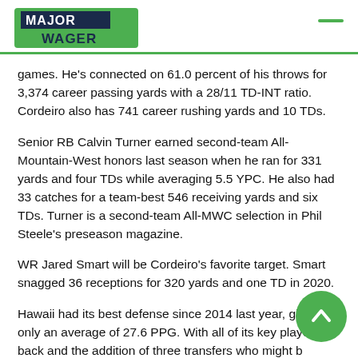Major Wager
games. He's connected on 61.0 percent of his throws for 3,374 career passing yards with a 28/11 TD-INT ratio. Cordeiro also has 741 career rushing yards and 10 TDs.
Senior RB Calvin Turner earned second-team All-Mountain-West honors last season when he ran for 331 yards and four TDs while averaging 5.5 YPC. He also had 33 catches for a team-best 546 receiving yards and six TDs. Turner is a second-team All-MWC selection in Phil Steele's preseason magazine.
WR Jared Smart will be Cordeiro's favorite target. Smart snagged 36 receptions for 320 yards and one TD in 2020.
Hawaii had its best defense since 2014 last year, giving up only an average of 27.6 PPG. With all of its key players back and the addition of three transfers who might be starters in CB Hugh Nelson (Georgia), DT Pita Tonga…